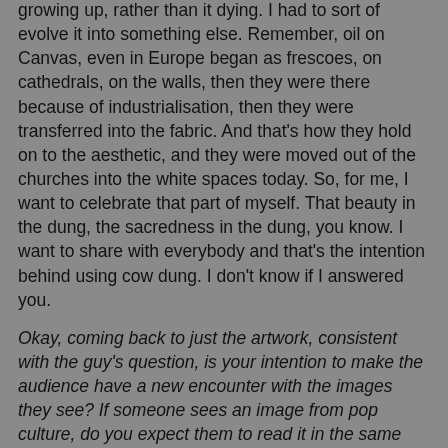growing up, rather than it dying. I had to sort of evolve it into something else. Remember, oil on Canvas, even in Europe began as frescoes, on cathedrals, on the walls, then they were there because of industrialisation, then they were transferred into the fabric. And that's how they hold on to the aesthetic, and they were moved out of the churches into the white spaces today. So, for me, I want to celebrate that part of myself. That beauty in the dung, the sacredness in the dung, you know. I want to share with everybody and that's the intention behind using cow dung. I don't know if I answered you.
Okay, coming back to just the artwork, consistent with the guy's question, is your intention to make the audience have a new encounter with the images they see? If someone sees an image from pop culture, do you expect them to read it in the same manner as the initial context?
I recognised early in my career that the role that words play in directing us and manipulating us, is also played also by images. Remember images are also useful tools for propaganda. And I was interested in taking iconographic images, not as an image, but that you can use and manipulate it. For the...